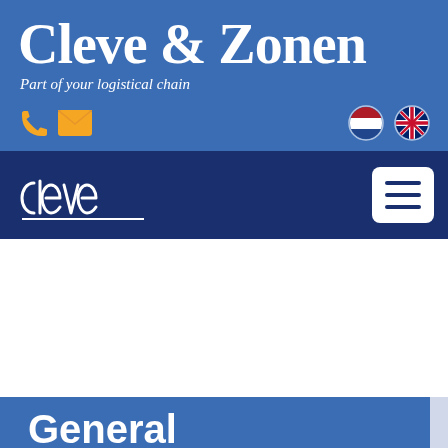Cleve & Zonen
Part of your logistical chain
[Figure (logo): Cleve & Zonen company logo with navigation bar, phone and email icons, Dutch and UK flag icons]
General information